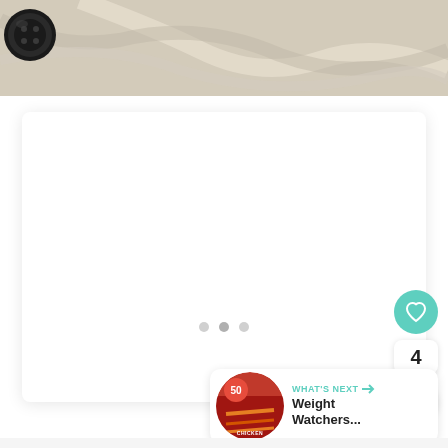[Figure (photo): Close-up photo of a black button on a cream/beige knitted textile fabric, top portion of page]
[Figure (other): White rounded card/panel in the center of the page, empty content area with three dots pagination indicator]
[Figure (other): Teal circular FAB button with heart icon on right side]
4
[Figure (other): White circular share/social button with plus-share icon]
[Figure (other): WHAT'S NEXT card showing thumbnail and title 'Weight Watchers...']
WHAT'S NEXT →
Weight Watchers...